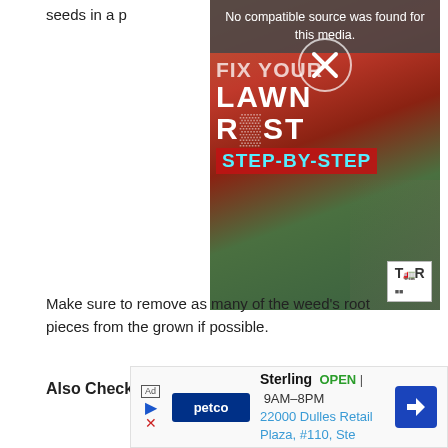seeds in a p…
[Figure (screenshot): Video player overlay showing 'No compatible source was found for this media.' with a close button X, overlaid on a lawn care video thumbnail with text 'LAWN [FROST]' and 'STEP-BY-STEP' and a TLR logo in the corner.]
Make sure to… root pieces from the grown if possible.
Also Check:  Talpirid Home Depot
[Figure (infographic): Social share bar with share button, Facebook, Twitter, Pinterest, and WhatsApp buttons]
[Figure (infographic): Advertisement banner for Petco Sterling store showing OPEN 9AM-8PM, address 22000 Dulles Retail Plaza, #110, Ste]